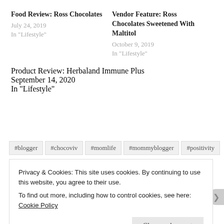Food Review: Ross Chocolates
July 24, 2019
In "Lifestyle"
Vendor Feature: Ross Chocolates Sweetened With Maltitol
October 9, 2019
In "Lifestyle"
Product Review: Herbaland Immune Plus
September 14, 2020
In "Lifestyle"
#blogger
#chocoviv
#momlife
#mommyblogger
#positivity
Privacy & Cookies: This site uses cookies. By continuing to use this website, you agree to their use.
To find out more, including how to control cookies, see here: Cookie Policy
Close and accept